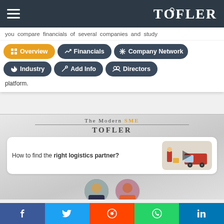TOFLER - navigation bar with hamburger menu and logo
you compare financials of several companies and study
[Figure (screenshot): Navigation buttons: Overview (active/yellow), Financials, Company Network, Industry, Add Info, Directors]
platform.
[Figure (screenshot): The Modern SME TOFLER - video thumbnail showing 'How to find the right logistics partner?' with play button, delivery truck and person illustration, and host avatars]
Social sharing bar: Facebook, Twitter, Reddit, WhatsApp, LinkedIn